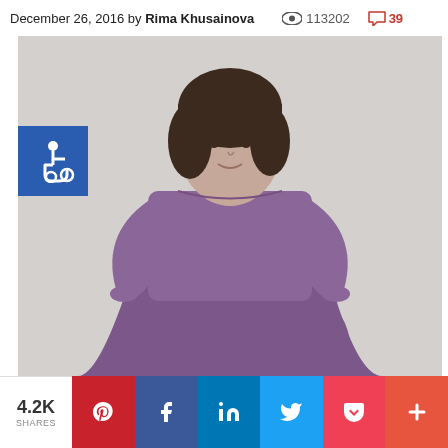December 26, 2016 by Rima Khusainova   👁 113202   💬 39
[Figure (photo): A woman with short dark hair wearing a purple long-sleeve linen dress with gathered skirt, standing against a light gray background. A blue accessibility icon badge is overlaid on the lower-left of the image.]
4.2K SHARES